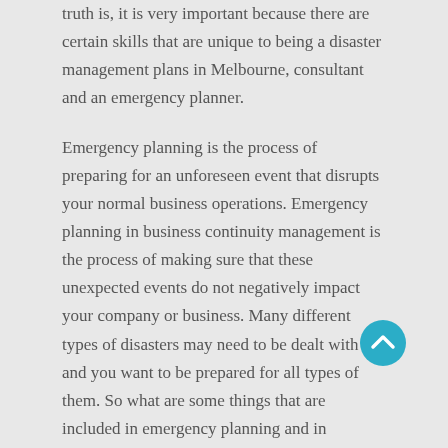truth is, it is very important because there are certain skills that are unique to being a disaster management plans in Melbourne, consultant and an emergency planner.
Emergency planning is the process of preparing for an unforeseen event that disrupts your normal business operations. Emergency planning in business continuity management is the process of making sure that these unexpected events do not negatively impact your company or business. Many different types of disasters may need to be dealt with and you want to be prepared for all types of them. So what are some things that are included in emergency planning and in business continuity management in Melbourne?
A lot of people are surprised to learn that emergency planners and business continuity in Melbourne managers